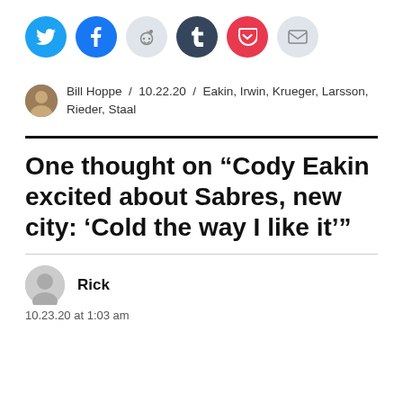[Figure (infographic): Row of social sharing icon circles: Twitter (blue), Facebook (blue), Reddit (light gray), Tumblr (dark navy), Pocket (red), Email (light gray)]
Bill Hoppe / 10.22.20 / Eakin, Irwin, Krueger, Larsson, Rieder, Staal
One thought on “Cody Eakin excited about Sabres, new city: ‘Cold the way I like it’”
Rick
10.23.20 at 1:03 am